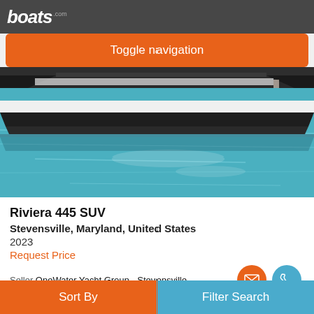boats.com
Toggle navigation
[Figure (photo): Side view of a large white motor yacht / cruiser boat on blue-green water]
Riviera 445 SUV
Stevensville, Maryland, United States
2023
Request Price
Seller OneWater Yacht Group - Stevensville
Advertisement
Sort By    Filter Search